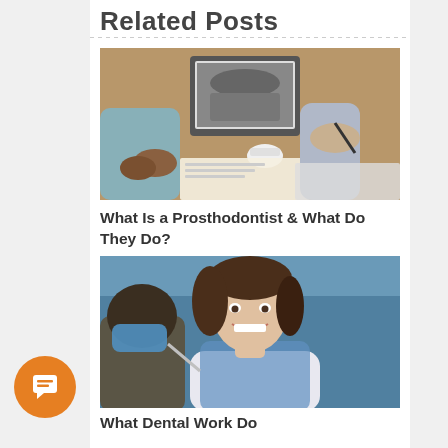Related Posts
[Figure (photo): Dental consultation scene: two people at a desk with dental X-ray on laptop screen, dental model, clipboard and papers]
What Is a Prosthodontist & What Do They Do?
[Figure (photo): Smiling female dental patient in chair with dentist/hygienist visible from behind, wearing mask]
What Dental Work Do